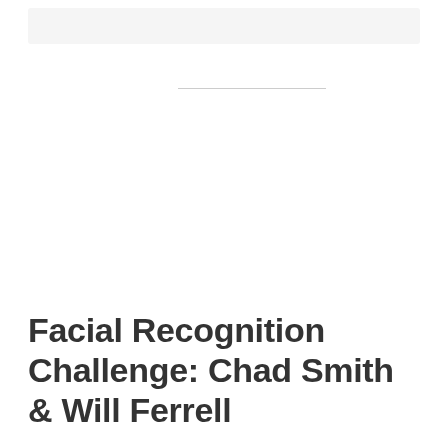Facial Recognition Challenge: Chad Smith & Will Ferrell